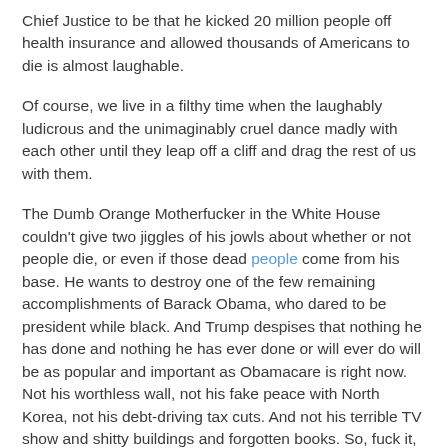Chief Justice to be that he kicked 20 million people off health insurance and allowed thousands of Americans to die is almost laughable.
Of course, we live in a filthy time when the laughably ludicrous and the unimaginably cruel dance madly with each other until they leap off a cliff and drag the rest of us with them.
The Dumb Orange Motherfucker in the White House couldn't give two jiggles of his jowls about whether or not people die, or even if those dead people come from his base. He wants to destroy one of the few remaining accomplishments of Barack Obama, who dared to be president while black. And Trump despises that nothing he has done and nothing he has ever done or will ever do will be as popular and important as Obamacare is right now. Not his worthless wall, not his fake peace with North Korea, not his debt-driving tax cuts. And not his terrible TV show and shitty buildings and forgotten books. So, fuck it, people must die to prove he can kill them.